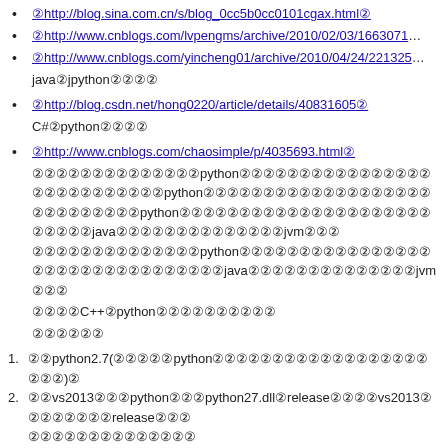①http://blog.sina.com.cn/s/blog_0cc5b0cc0101cgax.html②
①http://www.cnblogs.com/lvpengms/archive/2010/02/03/1663071...
①http://www.cnblogs.com/yincheng01/archive/2010/04/24/221325...
java②jpython②②②②
①http://blog.csdn.net/hong0220/article/details/40831605②
C#②②python②②②②
①http://www.cnblogs.com/chaosimple/p/4035693.html②
②②②②②②②②②②②②②②python②②②②②②②②②②②②②②②②②②②②②②②②②②②python②②②②②②②②②②②②②②②②②②②②②②②②②②②②python②②②②②②②②②②②②②②②②②②②②②②②②②②java②②②②②②②②②②②②②②jvm②②②②②②②②②②②②②C++②python②②②②②②②②②②
②②②②②②
1. ②②python2.7(②②②②②②python②②②②②②②②②②②②②②②②②②②②②)②
2. ②②vs2013②②②python②②②python27.dll②release②②②②vs2013②②②②②②②②release②②②②②②②②②②②②②②②②②②②
3. ②②VS2013②②C++②②②②②②②②②②②②②②②②②②②②②②②②②②②②②②②②②②②②②
① C/C++ ——> ②② ——> ②②②②②②②,②②python②②②②②②